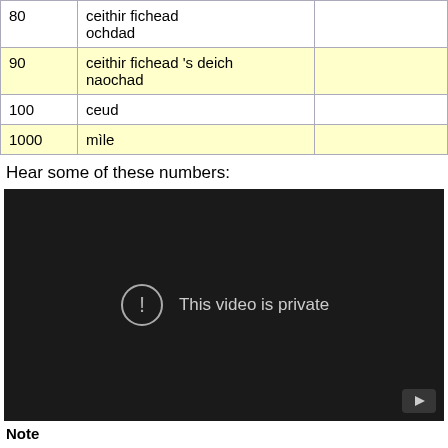|  |  |  |
| --- | --- | --- |
| 80 | ceithir fichead
ochdad |  |
| 90 | ceithir fichead 's deich
naochad |  |
| 100 | ceud |  |
| 1000 | mìle |  |
Hear some of these numbers:
[Figure (screenshot): Embedded video player showing 'This video is private' message with a circular exclamation icon on a dark background.]
Note